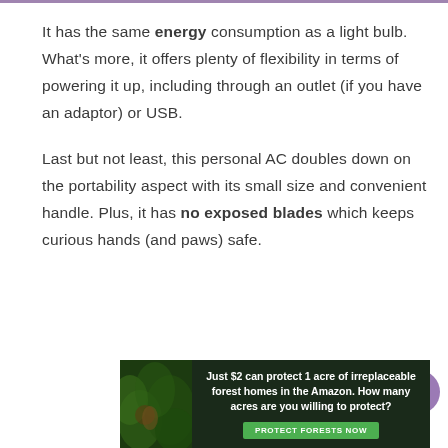It has the same energy consumption as a light bulb. What's more, it offers plenty of flexibility in terms of powering it up, including through an outlet (if you have an adaptor) or USB.
Last but not least, this personal AC doubles down on the portability aspect with its small size and convenient handle. Plus, it has no exposed blades which keeps curious hands (and paws) safe.
[Figure (other): Advertisement banner: 'Just $2 can protect 1 acre of irreplaceable forest homes in the Amazon. How many acres are you willing to protect?' with a green 'PROTECT FORESTS NOW' button and a forest/wildlife image on the left.]